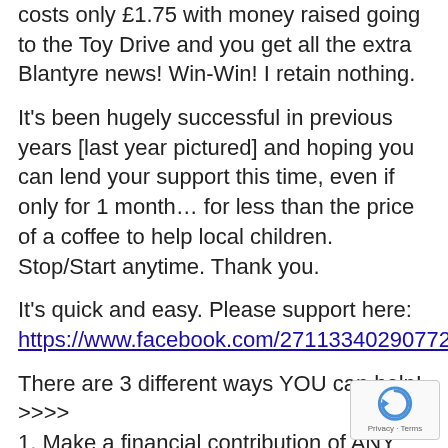costs only £1.75 with money raised going to the Toy Drive and you get all the extra Blantyre news! Win-Win! I retain nothing.
It's been hugely successful in previous years [last year pictured] and hoping you can lend your support this time, even if only for 1 month… for less than the price of a coffee to help local children. Stop/Start anytime. Thank you.
It's quick and easy. Please support here: https://www.facebook.com/271133402907727/support/
There are 3 different ways YOU can help! >>>>
1. Make a financial contribution of ANY amount you choose by Paypal or card here: https://theblantyretelegraph.com/campaigns/blantyre-toy-drive-2021/
2. or why not Subscribe to become a Blantyre Telegraph Supporter for only £1.79 which will unlock loads of extra news AND with full subscriptions going to the Toy Drive this